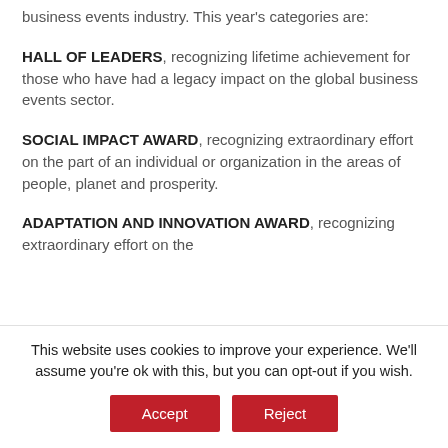business events industry. This year's categories are:
HALL OF LEADERS, recognizing lifetime achievement for those who have had a legacy impact on the global business events sector.
SOCIAL IMPACT AWARD, recognizing extraordinary effort on the part of an individual or organization in the areas of people, planet and prosperity.
ADAPTATION AND INNOVATION AWARD, recognizing extraordinary effort on the
This website uses cookies to improve your experience. We'll assume you're ok with this, but you can opt-out if you wish. Accept Reject